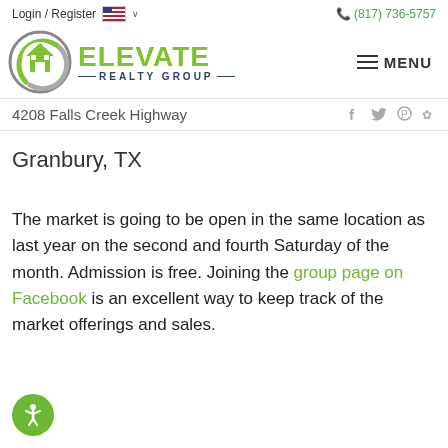Login / Register  (817) 736-5757
[Figure (logo): Elevate Realty Group logo with green circular house icon and green ELEVATE text with navy REALTY GROUP subtitle]
4208 Falls Creek Highway
Granbury, TX
The market is going to be open in the same location as last year on the second and fourth Saturday of the month. Admission is free. Joining the group page on Facebook is an excellent way to keep track of the market offerings and sales.